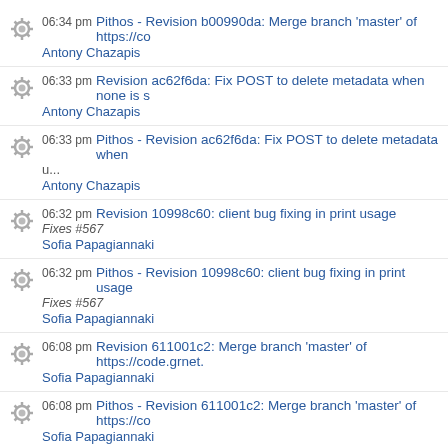06:34 pm Pithos - Revision b00990da: Merge branch 'master' of https://co... Antony Chazapis
06:33 pm Revision ac62f6da: Fix POST to delete metadata when none is s... Antony Chazapis
06:33 pm Pithos - Revision ac62f6da: Fix POST to delete metadata when u... Antony Chazapis
06:32 pm Revision 10998c60: client bug fixing in print usage
Fixes #567
Sofia Papagiannaki
06:32 pm Pithos - Revision 10998c60: client bug fixing in print usage
Fixes #567
Sofia Papagiannaki
06:08 pm Revision 611001c2: Merge branch 'master' of https://code.grnet... Sofia Papagiannaki
06:08 pm Pithos - Revision 611001c2: Merge branch 'master' of https://co... Sofia Papagiannaki
06:08 pm Revision a2defd86: - display command usage instead of client u...
- include trashed objects in listing using meta filtering
Refs #576
Sofia Papagiannaki
06:08 pm Pithos - Revision a2defd86: - display command usage instead o...
- include trashed objects in listing using meta filtering
Refs #576